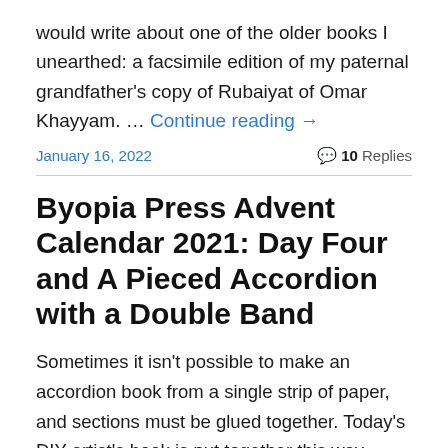would write about one of the older books I unearthed: a facsimile edition of my paternal grandfather's copy of Rubaiyat of Omar Khayyam. … Continue reading →
January 16, 2022    💬 10 Replies
Byopia Press Advent Calendar 2021: Day Four and A Pieced Accordion with a Double Band
Sometimes it isn't possible to make an accordion book from a single strip of paper, and sections must be glued together. Today's DIY artist's book is put together this way.       Four Seasons In A Dry Year was originally created for a Canadian Bookbinders and Book Artists Guild … Continue reading …